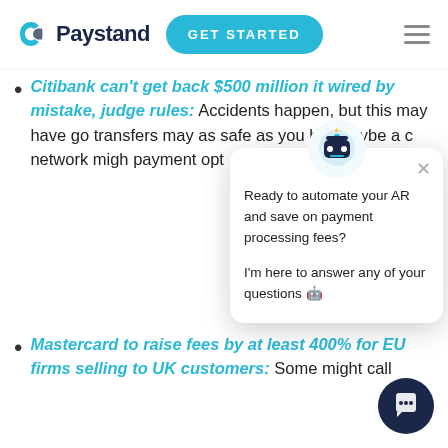Paystand — GET STARTED
Citibank can't get back $500 million it wired by mistake, judge rules: Accidents happen, but this may have gone too far. Wire transfers may not be as safe as you'd like them to be. Maybe a closed blockchain network might offer better payment options.
Mastercard to raise fees by at least 400% for EU firms selling to UK customers: Some might call